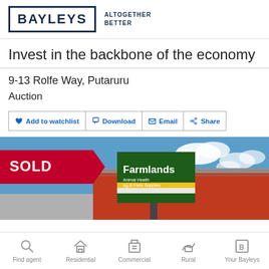[Figure (logo): Bayleys logo with box and tagline ALTOGETHER BETTER]
Invest in the backbone of the economy
9-13 Rolfe Way, Putaruru
Auction
♥ Add to watchlist   🖨 Download   ✉ Email   ≪ Share
[Figure (photo): Property photo showing a Farmlands store building with a SOLD banner overlay, blue sky with clouds in background]
Find agent   Residential   Commercial   Rural   Your Bayleys